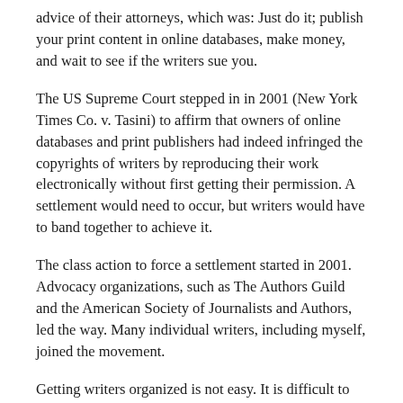advice of their attorneys, which was: Just do it; publish your print content in online databases, make money, and wait to see if the writers sue you.
The US Supreme Court stepped in in 2001 (New York Times Co. v. Tasini) to affirm that owners of online databases and print publishers had indeed infringed the copyrights of writers by reproducing their work electronically without first getting their permission. A settlement would need to occur, but writers would have to band together to achieve it.
The class action to force a settlement started in 2001. Advocacy organizations, such as The Authors Guild and the American Society of Journalists and Authors, led the way. Many individual writers, including myself, joined the movement.
Getting writers organized is not easy. It is difficult to get writers to agree to pursue any cause. Getting writers on board for a political effort of this magnitude is sometimes compared to herding cats. But, in this situation, enough writers did get mobilized by 2002 to